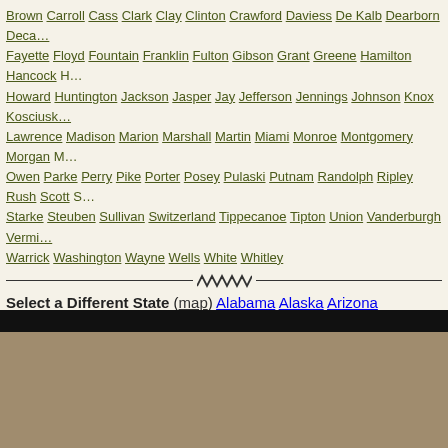Brown Carroll Cass Clark Clay Clinton Crawford Daviess De Kalb Dearborn Decatur Fayette Floyd Fountain Franklin Fulton Gibson Grant Greene Hamilton Hancock Howard Huntington Jackson Jasper Jay Jefferson Jennings Johnson Knox Kosciusko Lawrence Madison Marion Marshall Martin Miami Monroe Montgomery Morgan Owen Parke Perry Pike Porter Posey Pulaski Putnam Randolph Ripley Rush Scott Starke Steuben Sullivan Switzerland Tippecanoe Tipton Union Vanderburgh Vermillion Warrick Washington Wayne Wells White Whitley
Select a Different State (map) Alabama Alaska Arizona Arkansas California Delaware District Of Columbia Florida Georgia Hawaii Idaho Illinois Indiana Iowa Maine Maryland Massachusetts Michigan Minnesota Mississippi Missouri Montana New Hampshire New Jersey New Mexico New York North Carolina North Dakota Pennsylvania Rhode Island South Carolina South Dakota Tennessee Texas Utah Vermont West Virginia Wisconsin Wyoming
Return to Home Page